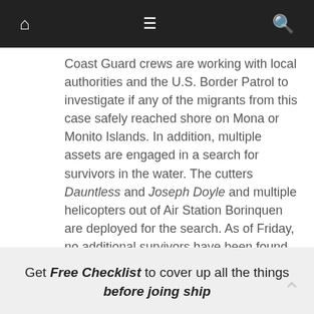Navigation bar with home, menu, and search icons
Coast Guard crews are working with local authorities and the U.S. Border Patrol to investigate if any of the migrants from this case safely reached shore on Mona or Monito Islands. In addition, multiple assets are engaged in a search for survivors in the water. The cutters Dauntless and Joseph Doyle and multiple helicopters out of Air Station Borinquen are deployed for the search. As of Friday, no additional survivors have been found.
Get Free Checklist to cover up all the things before joing ship